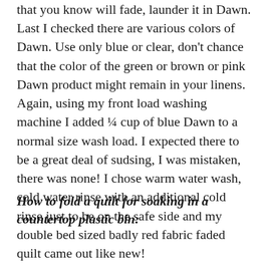that you know will fade, launder it in Dawn. Last I checked there are various colors of Dawn. Use only blue or clear, don't chance that the color of the green or brown or pink Dawn product might remain in your linens. Again, using my front load washing machine I added ¼ cup of blue Dawn to a normal size wash load. I expected there to be a great deal of sudsing, I was mistaken, there was none! I chose warm water wash, cold water rinse with an additional cold rinse just to be on the safe side and my double bed sized badly red fabric faded quilt came out like new!
How to fold a quilt for soaking in a countertop plastic bin: